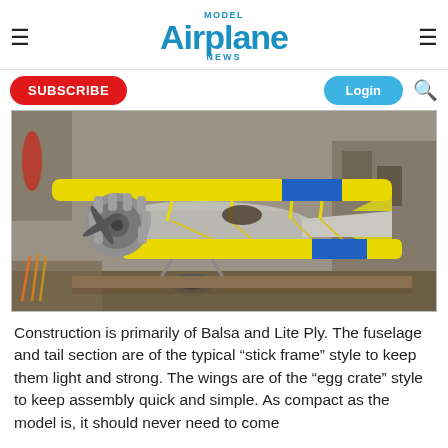Model Airplane News
[Figure (photo): Yellow biplane model airplane with blue stripe and silver radial engine, displayed in a workshop/garage setting.]
Construction is primarily of Balsa and Lite Ply. The fuselage and tail section are of the typical “stick frame” style to keep them light and strong. The wings are of the “egg crate” style to keep assembly quick and simple. As compact as the model is, it should never need to come